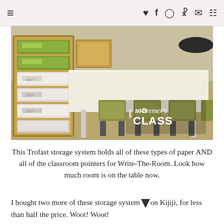≡  ♥ f ⊙ p ✉ 🛒
[Figure (photo): Classroom photo showing a Trofast storage system with green and white trays on the left, a large white table in the center, and olive-green chairs tucked under the table. A watermark 'MRS Bremer's CLASS' appears in the lower right corner.]
This Trofast storage system holds all of these types of paper AND all of the classroom pointers for Write-The-Room. Look how much room is on the table now.
I bought two more of these storage systems on Kijiji, for less than half the price. Woot! Woot! (I think Kijiji maybe the Canadian version of